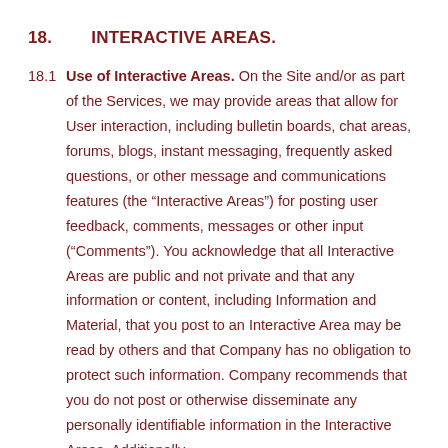18.      INTERACTIVE AREAS.
18.1    Use of Interactive Areas. On the Site and/or as part of the Services, we may provide areas that allow for User interaction, including bulletin boards, chat areas, forums, blogs, instant messaging, frequently asked questions, or other message and communications features (the “Interactive Areas”) for posting user feedback, comments, messages or other input (“Comments”). You acknowledge that all Interactive Areas are public and not private and that any information or content, including Information and Material, that you post to an Interactive Area may be read by others and that Company has no obligation to protect such information. Company recommends that you do not post or otherwise disseminate any personally identifiable information in the Interactive Areas. Additionally,